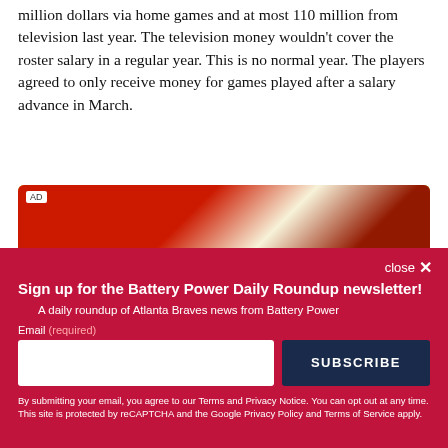million dollars via home games and at most 110 million from television last year. The television money wouldn't cover the roster salary in a regular year. This is no normal year. The players agreed to only receive money for games played after a salary advance in March.
[Figure (photo): Advertisement banner with gold border and red/white imagery]
close ×
Sign up for the Battery Power Daily Roundup newsletter!
A daily roundup of Atlanta Braves news from Battery Power
Email (required)
[email input] SUBSCRIBE
By submitting your email, you agree to our Terms and Privacy Notice. You can opt out at any time. This site is protected by reCAPTCHA and the Google Privacy Policy and Terms of Service apply.